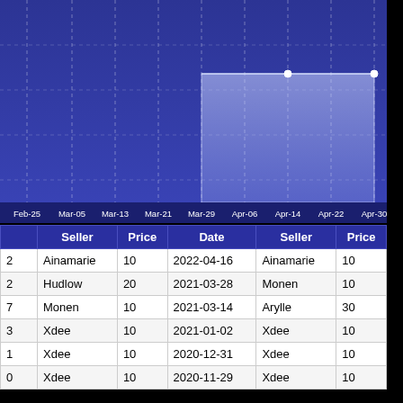[Figure (continuous-plot): Area/line chart with blue background showing price data over time from Feb-25 to Apr-30. A shaded light blue rectangular region spans roughly Mar-29 to Apr-30 at a mid-high value level. Two white dot markers visible at Apr-14 and Apr-30 at the top of the shaded area. Dashed vertical gridlines at each date interval.]
|  | Seller | Price | Date | Seller | Price |
| --- | --- | --- | --- | --- | --- |
| 2 | Ainamarie | 10 | 2022-04-16 | Ainamarie | 10 |
| 2 | Hudlow | 20 | 2021-03-28 | Monen | 10 |
| 7 | Monen | 10 | 2021-03-14 | Arylle | 30 |
| 3 | Xdee | 10 | 2021-01-02 | Xdee | 10 |
| 1 | Xdee | 10 | 2020-12-31 | Xdee | 10 |
| 0 | Xdee | 10 | 2020-11-29 | Xdee | 10 |